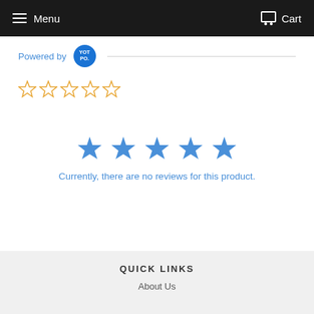Menu  Cart
[Figure (logo): Powered by Yotpo logo badge with horizontal rule]
[Figure (other): Five empty orange star outline rating icons]
[Figure (other): Five filled blue stars centered on page]
Currently, there are no reviews for this product.
QUICK LINKS
About Us